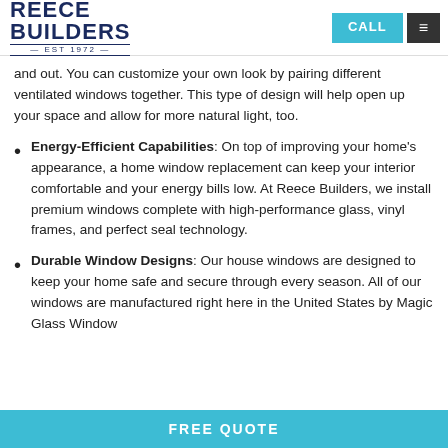REECE BUILDERS EST 1972 | CALL | Menu
and out. You can customize your own look by pairing different ventilated windows together. This type of design will help open up your space and allow for more natural light, too.
Energy-Efficient Capabilities: On top of improving your home's appearance, a home window replacement can keep your interior comfortable and your energy bills low. At Reece Builders, we install premium windows complete with high-performance glass, vinyl frames, and perfect seal technology.
Durable Window Designs: Our house windows are designed to keep your home safe and secure through every season. All of our windows are manufactured right here in the United States by Magic Glass Window
FREE QUOTE